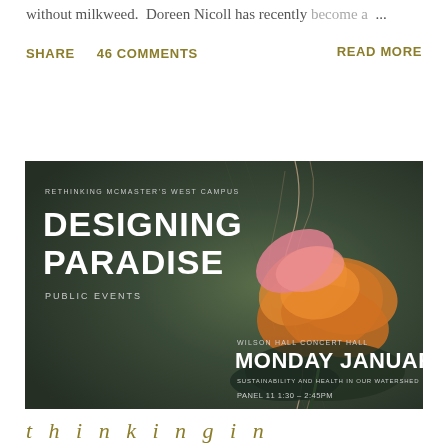without milkweed.  Doreen Nicoll has recently become a ...
SHARE   46 COMMENTS   READ MORE
[Figure (illustration): Event poster for 'Designing Paradise – Public Events', Rethinking McMaster's West Campus. Features a dark green background with a large orange and pink flower. Text includes: Wilson Hall Concert Hall, Monday January 13, Sustainability and Health in Our Watershed, Panel 11 1:30 – 2:45PM]
(partial italic text at bottom)